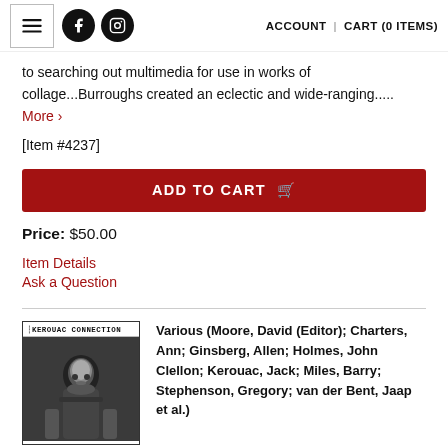ACCOUNT | CART (0 ITEMS)
to searching out multimedia for use in works of collage...Burroughs created an eclectic and wide-ranging..... More >
[Item #4237]
ADD TO CART
Price: $50.00
Item Details
Ask a Question
[Figure (photo): Black and white photo of a person on the cover of Kerouac Connection]
Various (Moore, David (Editor); Charters, Ann; Ginsberg, Allen; Holmes, John Clellon; Kerouac, Jack; Miles, Barry; Stephenson, Gregory; van der Bent, Jaap et al.)